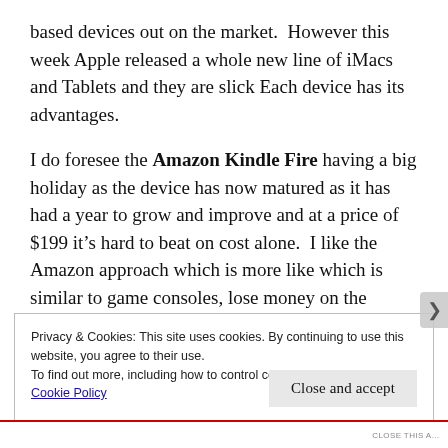based devices out on the market.  However this week Apple released a whole new line of iMacs and Tablets and they are slick Each device has its advantages.
I do foresee the Amazon Kindle Fire having a big holiday as the device has now matured as it has had a year to grow and improve and at a price of $199 it’s hard to beat on cost alone.  I like the Amazon approach which is more like which is similar to game consoles, lose money on the device and sell additional services.  Amazon is that dark horse in this category that I see
Privacy & Cookies: This site uses cookies. By continuing to use this website, you agree to their use.
To find out more, including how to control cookies, see here:
Cookie Policy
Close and accept